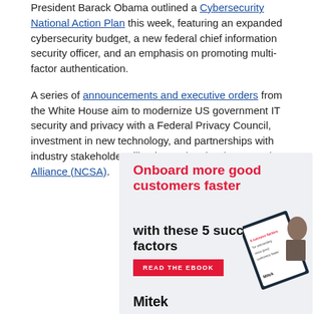President Barack Obama outlined a Cybersecurity National Action Plan this week, featuring an expanded cybersecurity budget, a new federal chief information security officer, and an emphasis on promoting multi-factor authentication.
A series of announcements and executive orders from the White House aim to modernize US government IT security and privacy with a Federal Privacy Council, investment in new technology, and partnerships with industry stakeholders like the National Cyber Security Alliance (NCSA).
[Figure (infographic): Advertisement for Mitek with red and black headline text: 'Onboard more good customers faster with these 5 success factors', a red 'READ THE eBOOK' button, an image of a book/tablet, and the Mitek brand name at the bottom.]